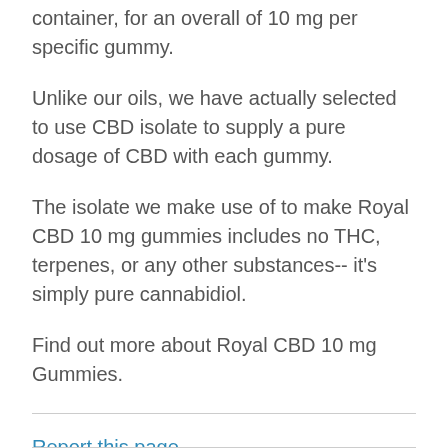container, for an overall of 10 mg per specific gummy.
Unlike our oils, we have actually selected to use CBD isolate to supply a pure dosage of CBD with each gummy.
The isolate we make use of to make Royal CBD 10 mg gummies includes no THC, terpenes, or any other substances-- it's simply pure cannabidiol.
Find out more about Royal CBD 10 mg Gummies.
Report this page